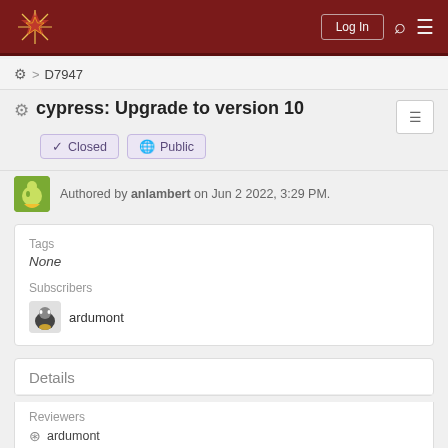Log In
⚙ > D7947
cypress: Upgrade to version 10
✔ Closed   🌐 Public
Authored by anlambert on Jun 2 2022, 3:29 PM.
Tags
None

Subscribers
ardumont
Details
Reviewers
◎ ardumont